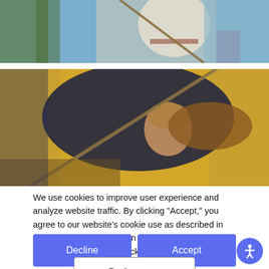[Figure (photo): Top portion of a classical painting showing a figure in white clothing holding a spear/staff against a blue sky background]
[Figure (photo): Classical painting of a warrior figure with golden/yellow background, holding a long spear, wearing a helmet, with flowing dark cloak]
We use cookies to improve user experience and analyze website traffic. By clicking “Accept,” you agree to our website’s cookie use as described in our Cookie Policy. You can change your cookie settings at any time by clicking “Preferences.”
Decline
Accept
Preferences